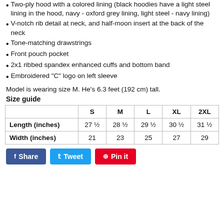Two-ply hood with a colored lining (black hoodies have a light steel lining in the hood, navy - oxford grey lining, light steel - navy lining)
V-notch rib detail at neck, and half-moon insert at the back of the neck
Tone-matching drawstrings
Front pouch pocket
2x1 ribbed spandex enhanced cuffs and bottom band
Embroidered "C" logo on left sleeve
Model is wearing size M. He's 6.3 feet (192 cm) tall.
Size guide
|  | S | M | L | XL | 2XL |
| --- | --- | --- | --- | --- | --- |
| Length (inches) | 27 ½ | 28 ½ | 29 ½ | 30 ½ | 31 ½ |
| Width (inches) | 21 | 23 | 25 | 27 | 29 |
Share  Tweet  Pin it